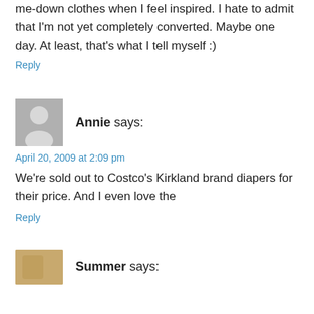me-down clothes when I feel inspired. I hate to admit that I'm not yet completely converted. Maybe one day. At least, that's what I tell myself :)
Reply
Annie says:
April 20, 2009 at 2:09 pm
We're sold out to Costco's Kirkland brand diapers for their price. And I even love the
Reply
Summer says: